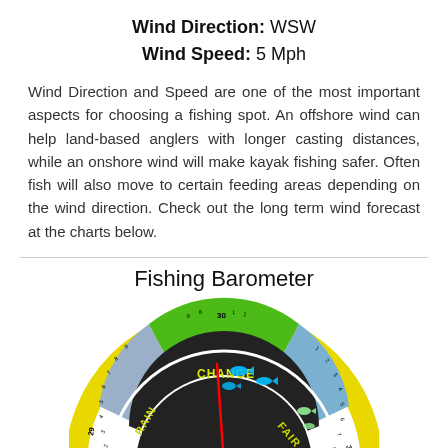Wind Direction: WSW
Wind Speed: 5 Mph
Wind Direction and Speed are one of the most important aspects for choosing a fishing spot. An offshore wind can help land-based anglers with longer casting distances, while an onshore wind will make kayak fishing safer. Often fish will also move to certain feeding areas depending on the wind direction. Check out the long term wind forecast at the charts below.
Fishing Barometer
[Figure (infographic): A fishing barometer gauge (semicircle) with a yellow outer ring marked with pressure numbers (29, 30, 31 and subdivisions), inner colored sections labeled RAIN (gray-blue), CHANGE (green), FAIR (blue), with fish icons in green/blue areas, a red needle pointing upward toward CHANGE, and labels GREAT and GOOD at the bottom.]